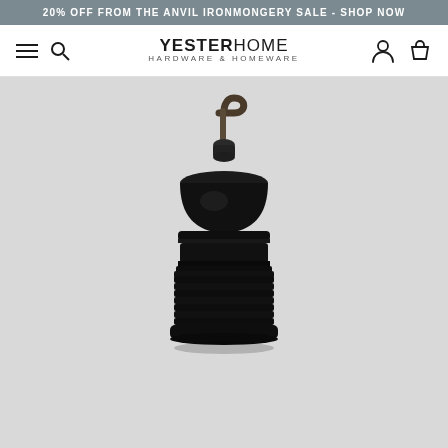20% OFF FROM THE ANVIL IRONMONGERY SALE - SHOP NOW
YESTERHOME HARDWARE & HOMEWARE
[Figure (photo): Black metal E27 lamp holder / pendant light socket with a hook on top, shown on light grey background. The socket has a domed top, threaded body sections, and a metal hook curving upward from the centre top.]